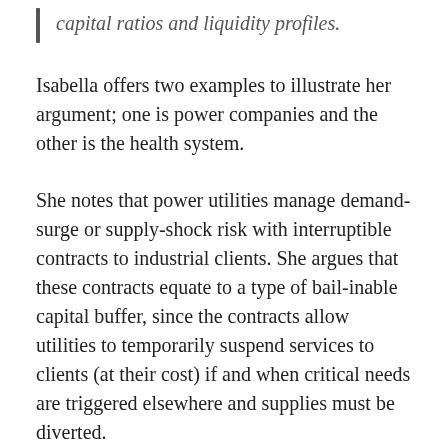capital ratios and liquidity profiles.
Isabella offers two examples to illustrate her argument; one is power companies and the other is the health system.
She notes that power utilities manage demand-surge or supply-shock risk with interruptible contracts to industrial clients. She argues that these contracts equate to a type of bail-inable capital buffer, since the contracts allow utilities to temporarily suspend services to clients (at their cost) if and when critical needs are triggered elsewhere and supplies must be diverted.